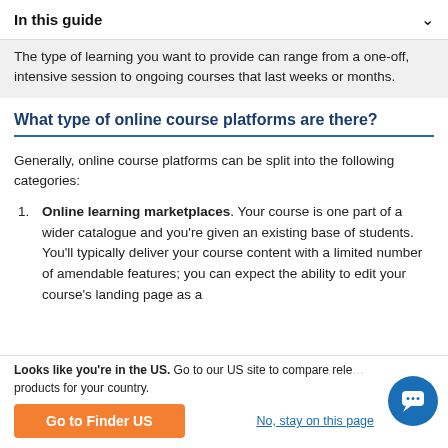In this guide
The type of learning you want to provide can range from a one-off, intensive session to ongoing courses that last weeks or months.
What type of online course platforms are there?
Generally, online course platforms can be split into the following categories:
Online learning marketplaces. Your course is one part of a wider catalogue and you're given an existing base of students. You'll typically deliver your course content with a limited number of amendable features; you can expect the ability to edit your course's landing page as a
Looks like you're in the US. Go to our US site to compare relevant products for your country. Go to Finder US | No, stay on this page